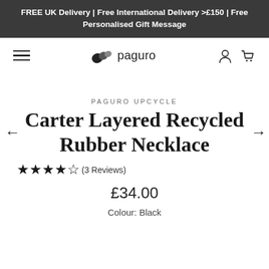FREE UK Delivery | Free International Delivery >£150 | Free Personalised Gift Message
[Figure (logo): Paguro brand logo with stylized snail shell icon and text 'paguro']
Carter Layered Recycled Rubber Necklace
PAGURO UPCYCLE
★★★★★(3 Reviews)
£34.00
Colour: Black